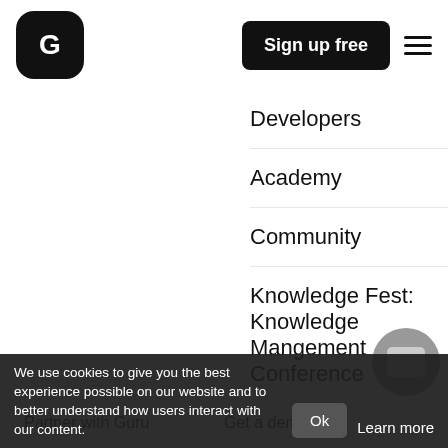[Figure (logo): Guru logo: black rounded square with white letter G]
Sign up free
Developers
Academy
Community
Knowledge Fest: Knowledge Mangement Conference
More
Contact us
Partner with Guru
Get a demo
Sales enablement
We use cookies to give you the best experience possible on our website and to better understand how users interact with our content.
Ok
Learn more